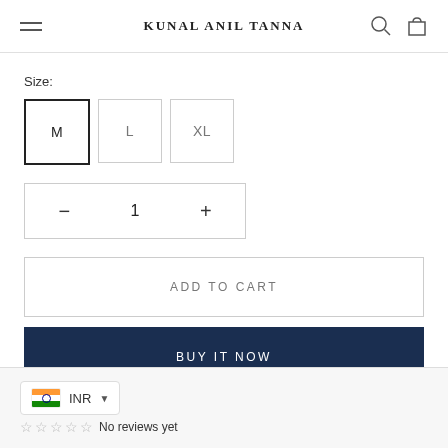Kunal Anil Tanna
Size:
M  L  XL
— 1 +
ADD TO CART
BUY IT NOW
INR  ews  No reviews yet